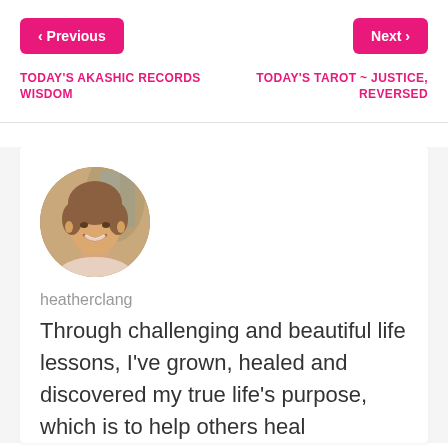< Previous | Next >
TODAY'S AKASHIC RECORDS WISDOM
TODAY'S TAROT ~ JUSTICE, REVERSED
[Figure (photo): Circular profile photo of a smiling woman with short brown hair, outdoors background]
heatherclang
Through challenging and beautiful life lessons, I've grown, healed and discovered my true life's purpose, which is to help others heal